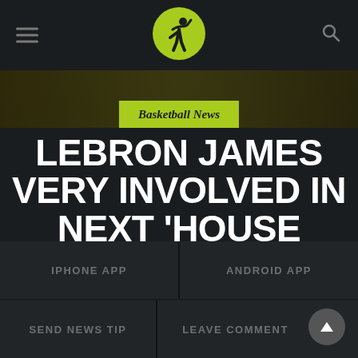Basketball news website header with hamburger menu, logo, and search icon
[Figure (logo): Circular yellow-green logo with a person flexing/drinking silhouette]
Basketball News
LEBRON JAMES VERY INVOLVED IN NEXT 'HOUSE PARTY' FLICK
SEPTEMBER 1, 2022 | SHIVANGINI RAWAT
IPHONE APP
ANDROID APP
SEND NEWS TIP
LEAVE COMMENT